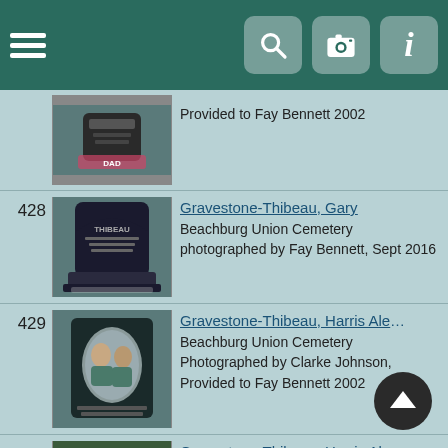Navigation bar with hamburger menu, search, camera, and info icons
Provided to Fay Bennett 2002
428 Gravestone-Thibeau, Gary | Beachburg Union Cemetery | photographed by Fay Bennett, Sept 2016
429 Gravestone-Thibeau, Harris Alexander & Mabel Eliz | Beachburg Union Cemetery | Photographed by Clarke Johnson, Provided to Fay Bennett 2002
430 Gravestone-Thibeau, Harris Alexander & Mabel Eliz | Beachburg Union Cemetery | Photographed by Clarke Johnson, Provided to Fay Bennett 2002
431 Gravestone-Thibeau, Leslie & Grace nee Hartwick | Beachburg Union Cemetery | photographed by Fay Bennett, Sept 2016